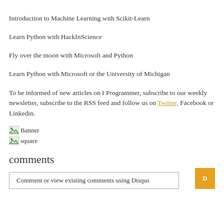Introduction to Machine Learning with Scikit-Learn
Learn Python with HackInScience
Fly over the moon with Microsoft and Python
Learn Python with Microsoft or the University of Michigan
To be informed of new articles on I Programmer, subscribe to our weekly newsletter, subscribe to the RSS feed and follow us on Twitter, Facebook or Linkedin.
[Figure (other): Banner image placeholder]
[Figure (other): Square image placeholder]
comments
Comment or view existing comments using Disqus